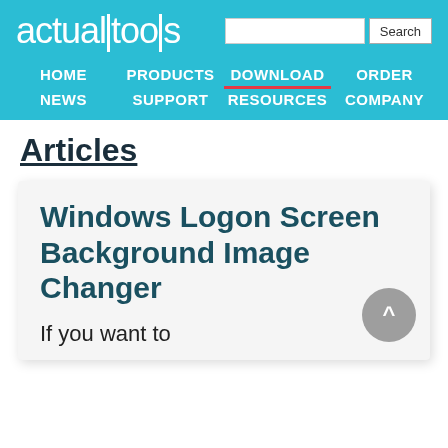actualtools — HOME | PRODUCTS | DOWNLOAD | ORDER | NEWS | SUPPORT | RESOURCES | COMPANY
Articles
Windows Logon Screen Background Image Changer
If you want to